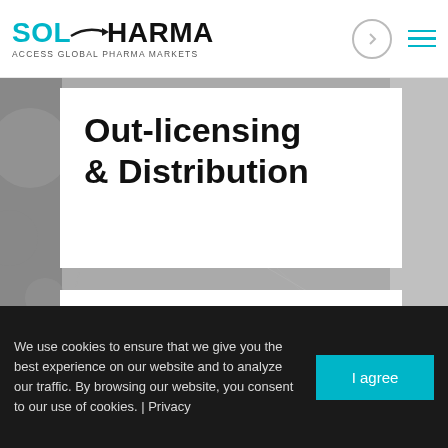SOLPHARMA ACCESS GLOBAL PHARMA MARKETS
Out-licensing & Distribution
[Figure (illustration): Teal outline puzzle pieces interlocking icon representing partnership/licensing]
We use cookies to ensure that we give you the best experience on our website and to analyze our traffic. By browsing our website, you consent to our use of cookies. | Privacy